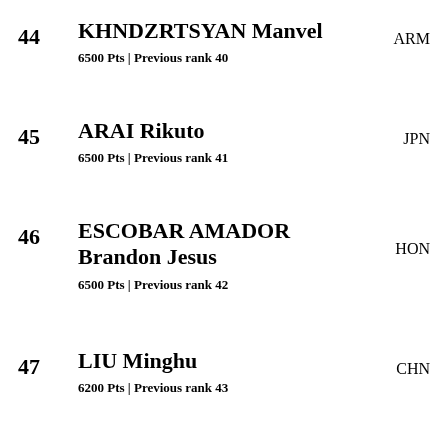44 KHNDZRTSYAN Manvel ARM 6500 Pts | Previous rank 40
45 ARAI Rikuto JPN 6500 Pts | Previous rank 41
46 ESCOBAR AMADOR Brandon Jesus HON 6500 Pts | Previous rank 42
47 LIU Minghu CHN 6200 Pts | Previous rank 43